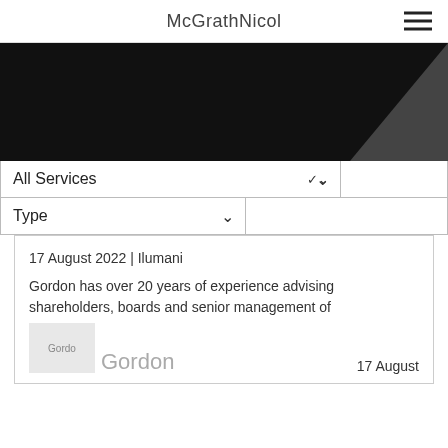McGrathNicol
[Figure (photo): Dark hero banner image, mostly black with a dark diagonal shape on the right side]
All Services ∨
Type ∨
17 August 2022 | Ilumani
Gordon has over 20 years of experience advising shareholders, boards and senior management of
[Figure (photo): Thumbnail image labeled Gordo (truncated), partially visible]
Gordon
17 August